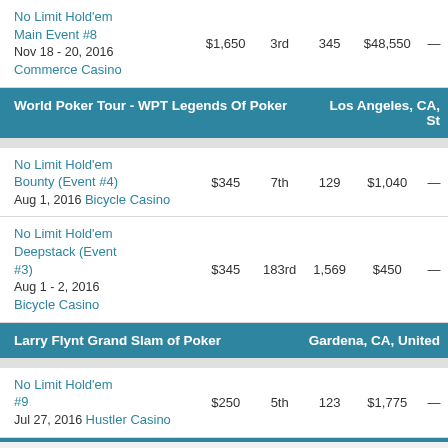| Event | Buy-in | Place | Entries | Winnings |  |
| --- | --- | --- | --- | --- | --- |
| No Limit Hold'em Main Event #8
Nov 18 - 20, 2016
Commerce Casino | $1,650 | 3rd | 345 | $48,550 | — |
| SECTION: World Poker Tour - WPT Legends Of Poker | Los Angeles, CA, St |
| No Limit Hold'em Bounty (Event #4)
Aug 1, 2016 Bicycle Casino | $345 | 7th | 129 | $1,040 | — |
| No Limit Hold'em Deepstack (Event #3)
Aug 1 - 2, 2016
Bicycle Casino | $345 | 183rd | 1,569 | $450 | — |
| SECTION: Larry Flynt Grand Slam of Poker | Gardena, CA, United |
| No Limit Hold'em #9
Jul 27, 2016 Hustler Casino | $250 | 5th | 123 | $1,775 | — |